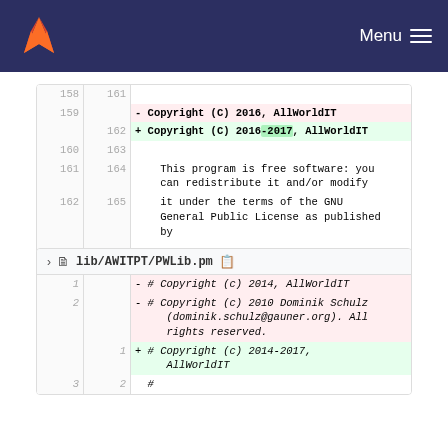Menu
| old | new | code |
| --- | --- | --- |
| 158 | 161 |  |
| 159 |  | - Copyright (C) 2016, AllWorldIT |
|  | 162 | + Copyright (C) 2016-2017, AllWorldIT |
| 160 | 163 |  |
| 161 | 164 |     This program is free software: you
    can redistribute it and/or modify |
| 162 | 165 |     it under the terms of the GNU
    General Public License as published
    by |
| ... | ... |  |
lib/AWITPT/PWLib.pm
| old | new | code |
| --- | --- | --- |
| 1 |  | - # Copyright (c) 2014, AllWorldIT |
| 2 |  | - # Copyright (c) 2010 Dominik Schulz
     (dominik.schulz@gauner.org). All
     rights reserved. |
|  | 1 | + # Copyright (c) 2014-2017,
     AllWorldIT |
| 3 | 2 |   # |